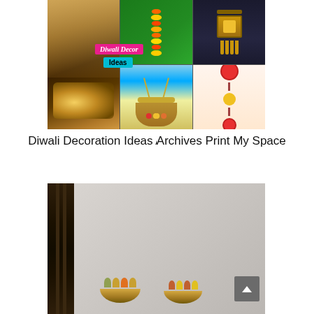[Figure (photo): Collage of Diwali decoration ideas: a candlelit room with curtains, marigold flower garland, decorative lantern, flower basket, and floral hanging decorations. Overlaid text reads 'Diwali Decor Ideas'.]
Diwali Decoration Ideas Archives Print My Space
[Figure (photo): Photo of two golden lotus-shaped diya/candle holders with colorful flowers placed on a surface, against a textured grey wall, with a dark wooden frame visible on the left. A scroll-to-top button is visible in the bottom right.]